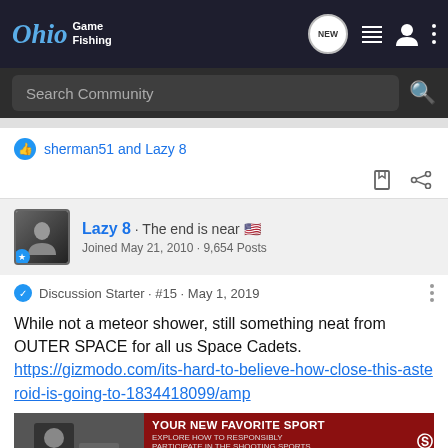Ohio Game Fishing
sherman51 and Lazy 8
Lazy 8 · The end is near · Joined May 21, 2010 · 9,654 Posts
Discussion Starter · #15 · May 1, 2019
While not a meteor shower, still something neat from OUTER SPACE for all us Space Cadets.
https://gizmodo.com/its-hard-to-believe-how-close-this-asteroid-is-going-to-1834418099/amp
[Figure (screenshot): Advertisement banner: YOUR NEW FAVORITE SPORT - EXPLORE HOW TO RESPONSIBLY PARTICIPATE IN THE SHOOTING SPORTS. START HERE!]